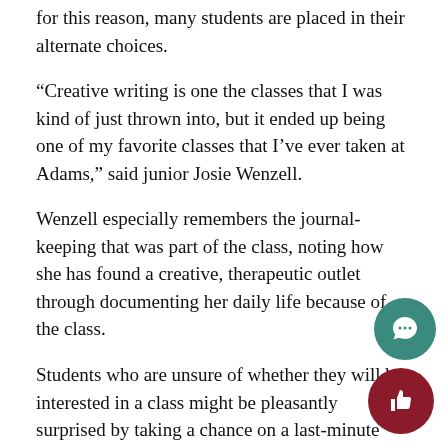for this reason, many students are placed in their alternate choices.
“Creative writing is one the classes that I was kind of just thrown into, but it ended up being one of my favorite classes that I’ve ever taken at Adams,” said junior Josie Wenzell.
Wenzell especially remembers the journal-keeping that was part of the class, noting how she has found a creative, therapeutic outlet through documenting her daily life because of the class.
Students who are unsure of whether they will be interested in a class might be pleasantly surprised by taking a chance on a last-minute schedule change. In these four years before Adams students head their separate ways, either to colle or employment, they just may discover a lifelong passio